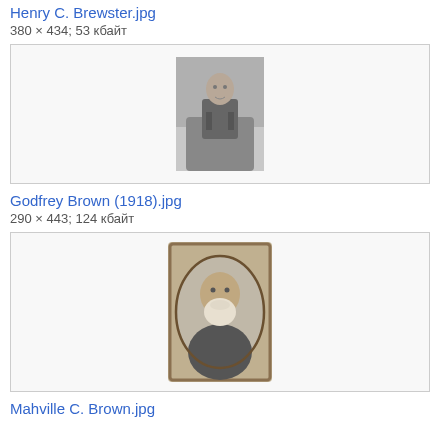Henry C. Brewster.jpg
380 × 434; 53 кбайт
[Figure (photo): Black and white photograph of a man seated in a chair, historical portrait, Henry C. Brewster]
Godfrey Brown (1918).jpg
290 × 443; 124 кбайт
[Figure (photo): Black and white oval portrait photograph of a bearded man in formal attire, Godfrey Brown 1918, surrounded by decorative border]
Mahville C. Brown.jpg